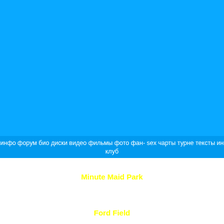[Figure (other): Solid bright blue background header area filling top portion of page]
инфо форум био диски видео фильмы фото фан- sex чарты турне тексты ин клуб
Minute Maid Park
Ford Field